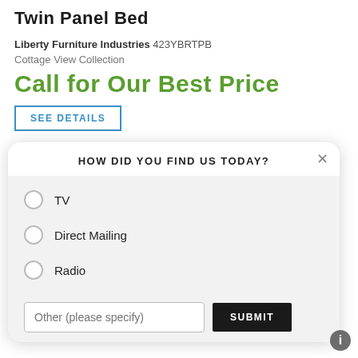Twin Panel Bed
Liberty Furniture Industries 423YBRTPB
Cottage View Collection
Call for Our Best Price
SEE DETAILS
HOW DID YOU FIND US TODAY?
TV
Direct Mailing
Radio
Other (please specify)
SUBMIT